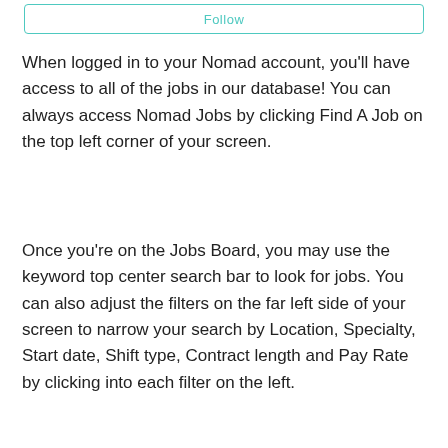[Figure (screenshot): A Follow button with teal/turquoise border and text at the top of the page]
When logged in to your Nomad account, you'll have access to all of the jobs in our database! You can always access Nomad Jobs by clicking Find A Job on the top left corner of your screen.
Once you're on the Jobs Board, you may use the keyword top center search bar to look for jobs. You can also adjust the filters on the far left side of your screen to narrow your search by Location, Specialty, Start date, Shift type, Contract length and Pay Rate by clicking into each filter on the left.